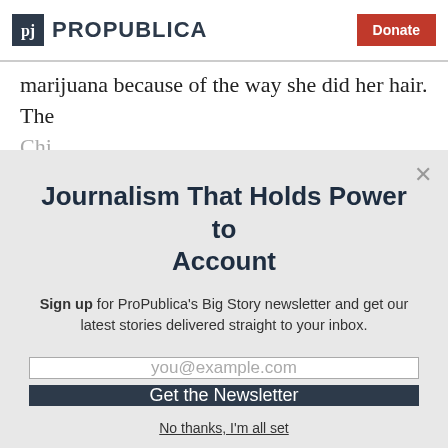ProPublica | Donate
marijuana because of the way she did her hair. The Chi...
Journalism That Holds Power to Account
Sign up for ProPublica's Big Story newsletter and get our latest stories delivered straight to your inbox.
you@example.com
Get the Newsletter
No thanks, I'm all set
This site is protected by reCAPTCHA and the Google Privacy Policy and Terms of Service apply.